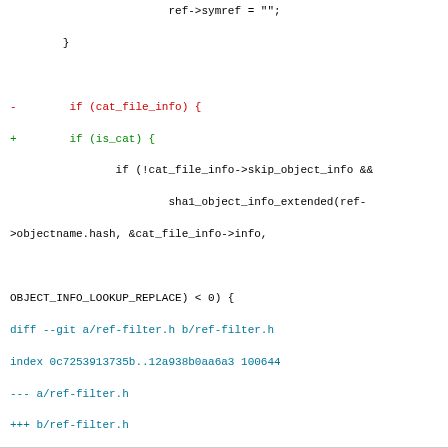Code diff showing changes to ref-filter.c and ref-filter.h, including a git diff, hunk headers, and a permalink footer.